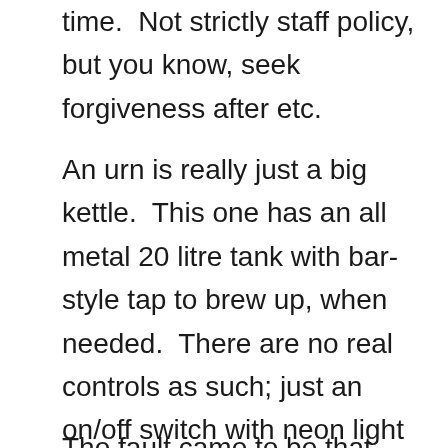time.  Not strictly staff policy, but you know, seek forgiveness after etc.
An urn is really just a big kettle.  This one has an all metal 20 litre tank with bar-style tap to brew up, when needed.  There are no real controls as such; just an on/off switch with neon light and two tell-tail lights to indicate boil and keep warm.  Keep warm is usually on all the time when switched on.
The fault came to be that the